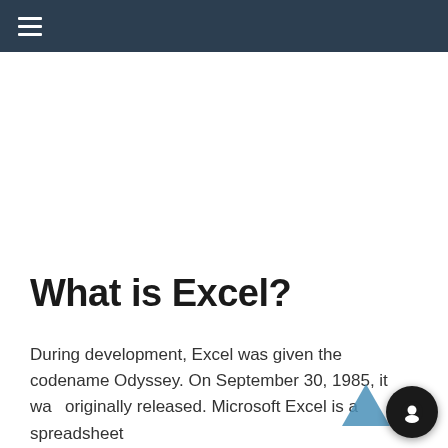≡
What is Excel?
During development, Excel was given the codename Odyssey. On September 30, 1985, it was originally released. Microsoft Excel is a spreadsheet